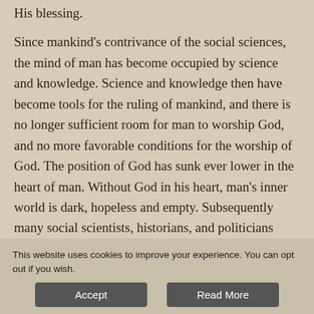His blessing.
Since mankind's contrivance of the social sciences, the mind of man has become occupied by science and knowledge. Science and knowledge then have become tools for the ruling of mankind, and there is no longer sufficient room for man to worship God, and no more favorable conditions for the worship of God. The position of God has sunk ever lower in the heart of man. Without God in his heart, man's inner world is dark, hopeless and empty. Subsequently many social scientists, historians, and politicians
This website uses cookies to improve your experience. You can opt out if you wish.